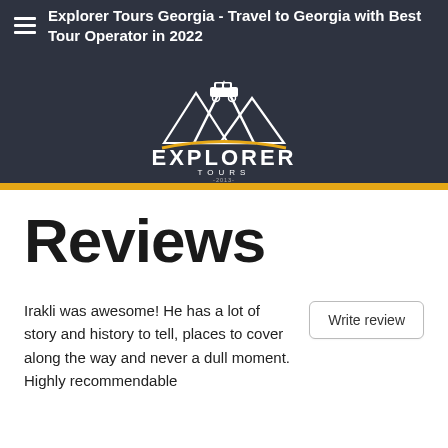Explorer Tours Georgia - Travel to Georgia with Best Tour Operator in 2022
[Figure (logo): Explorer Tours logo: white mountain silhouette with a jeep on top, orange horizontal line, bold white text EXPLORER, smaller text TOURS, year -2013-]
Reviews
Irakli was awesome! He has a lot of story and history to tell, places to cover along the way and never a dull moment. Highly recommendable